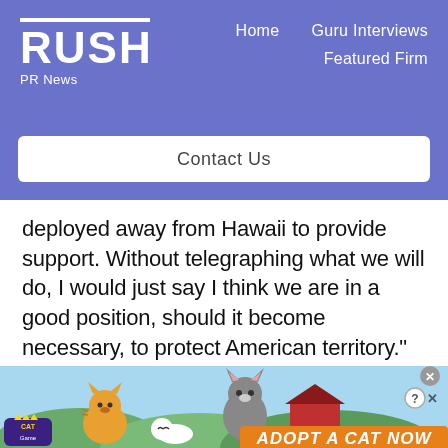RUSH PR News — Home | Guru Interviews | Featured Firm | Contact Us
deployed away from Hawaii to provide support. Without telegraphing what we will do, I would just say I think we are in a good position, should it become necessary, to protect American territory."
[Figure (illustration): Advertisement banner for Cat Game mobile app showing cartoon cats and 'ADOPT A CAT NOW' text]